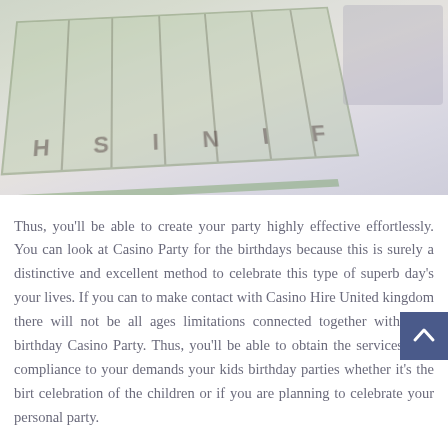[Figure (photo): A faded/washed-out photo showing a race track or game board with 'FINISH' text visible at the bottom, with people visible in the upper right corner. The image has a desaturated, light overlay appearance.]
Thus, you'll be able to create your party highly effective effortlessly. You can look at Casino Party for the birthdays because this is surely a distinctive and excellent method to celebrate this type of superb day's your lives. If you can to make contact with Casino Hire United kingdom there will not be all ages limitations connected together with your birthday Casino Party. Thus, you'll be able to obtain the services with compliance to your demands your kids birthday parties whether it's the birth celebration of the children or if you are planning to celebrate your personal party.